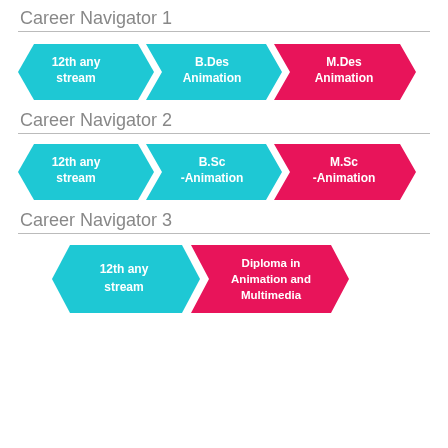Career Navigator 1
[Figure (flowchart): Three chevron arrows in sequence: '12th any stream' (cyan) → 'B.Des Animation' (cyan) → 'M.Des Animation' (pink)]
Career Navigator 2
[Figure (flowchart): Three chevron arrows in sequence: '12th any stream' (cyan) → 'B.Sc -Animation' (cyan) → 'M.Sc -Animation' (pink)]
Career Navigator 3
[Figure (flowchart): Two chevron arrows (partial): '12th any stream' (cyan) → 'Diploma in Animation and Multimedia' (pink, partially visible)]